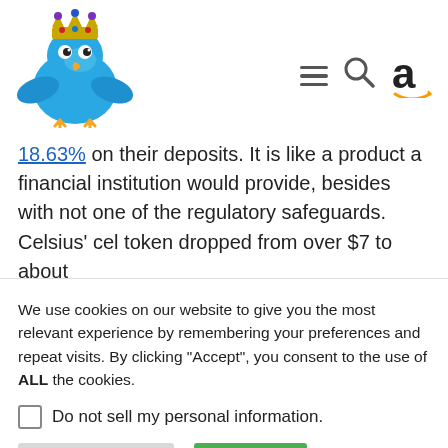[Figure (logo): Blue cartoon Twitter bird with jeweled crown, used as website logo]
[Figure (infographic): Navigation icons: hamburger menu, search magnifying glass, and Amazon 'a' logo]
18.63% on their deposits. It is like a product a financial institution would provide, besides with not one of the regulatory safeguards.
Celsius' cel token dropped from over $7 to about
We use cookies on our website to give you the most relevant experience by remembering your preferences and repeat visits. By clicking “Accept”, you consent to the use of ALL the cookies.
Do not sell my personal information.